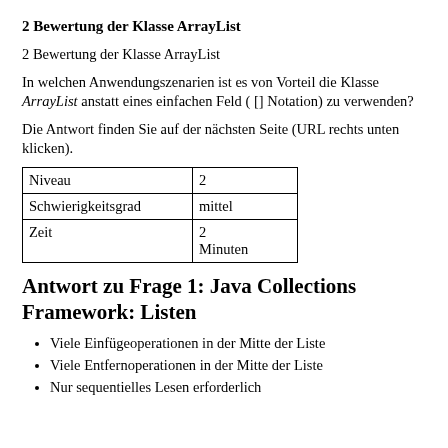2 Bewertung der Klasse ArrayList
2 Bewertung der Klasse ArrayList
In welchen Anwendungszenarien ist es von Vorteil die Klasse ArrayList anstatt eines einfachen Feld ( [] Notation) zu verwenden?
Die Antwort finden Sie auf der nächsten Seite (URL rechts unten klicken).
| Niveau | 2 |
| Schwierigkeitsgrad | mittel |
| Zeit | 2 Minuten |
Antwort zu Frage 1: Java Collections Framework: Listen
Viele Einfügeoperationen in der Mitte der Liste
Viele Entfernoperationen in der Mitte der Liste
Nur sequentielles Lesen erforderlich